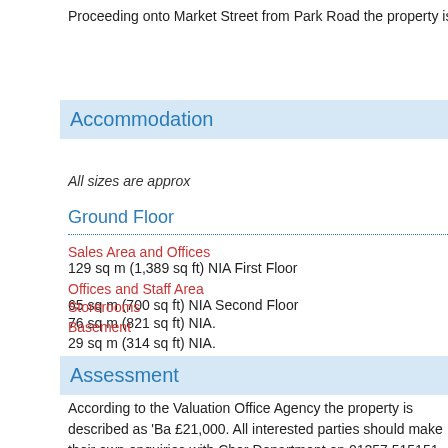Proceeding onto Market Street from Park Road the property is directly on
Accommodation
All sizes are approx
Ground Floor
Sales Area and Offices
129 sq m (1,389 sq ft) NIA First Floor
Offices and Staff Area
65 sq m (700 sq ft) NIA Second Floor
Storerooms
76 sq m (821 sq ft) NIA.
Basement
29 sq m (314 sq ft) NIA.
Assessment
According to the Valuation Office Agency the property is described as 'Ba £21,000. All interested parties should make their own enquiries with Chor Department on 01257 515151 to confirm eligibility for Small Business Ra Development Officer.